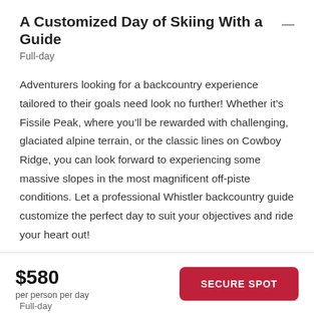A Customized Day of Skiing With a Guide
Full-day
Adventurers looking for a backcountry experience tailored to their goals need look no further! Whether it’s Fissile Peak, where you’ll be rewarded with challenging, glaciated alpine terrain, or the classic lines on Cowboy Ridge, you can look forward to experiencing some massive slopes in the most magnificent off-piste conditions. Let a professional Whistler backcountry guide customize the perfect day to suit your objectives and ride your heart out!
$580
per person per day
SECURE SPOT
Full-day